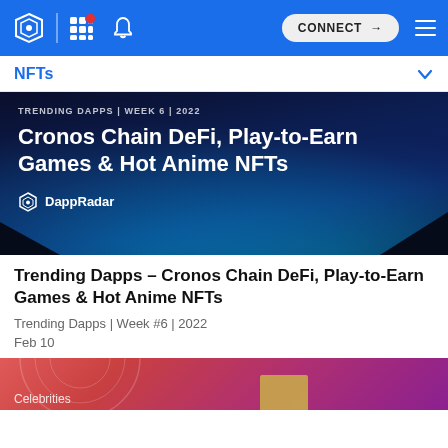CONNECT
NFTs
[Figure (screenshot): DappRadar banner: TRENDING DAPPS | WEEK 6 | 2022 — Cronos Chain DeFi, Play-to-Earn Games & Hot Anime NFTs — DappRadar logo. Dark blue background with cyan light rays.]
Trending Dapps – Cronos Chain DeFi, Play-to-Earn Games & Hot Anime NFTs
Trending Dapps | Week #6 | 2022
Feb 10
[Figure (screenshot): Bottom of a second article card with a pink/coral to purple gradient background. Partially visible text 'Celebrities' at the bottom.]